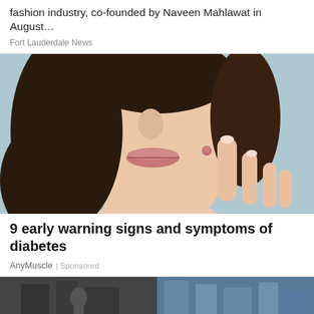fashion industry, co-founded by Naveen Mahlawat in August…
Fort Lauderdale News
[Figure (photo): Close-up photo of a young woman touching her cheek with her fingers, showing a small pimple/blemish on her cheek. Background is light blue. She has dark hair.]
9 early warning signs and symptoms of diabetes
AnyMuscle | Sponsored
[Figure (photo): Two partial images side by side at the bottom of the page - left side shows a dark indoor scene, right side shows an outdoor urban/building scene with blue tones.]